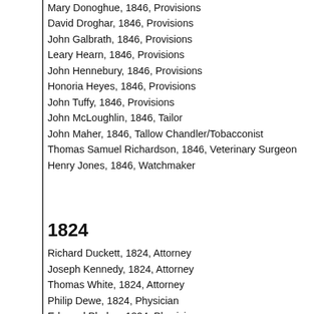Mary Donoghue, 1846, Provisions
David Droghar, 1846, Provisions
John Galbrath, 1846, Provisions
Leary Hearn, 1846, Provisions
John Hennebury, 1846, Provisions
Honoria Heyes, 1846, Provisions
John Tuffy, 1846, Provisions
John McLoughlin, 1846, Tailor
John Maher, 1846, Tallow Chandler/Tobacconist
Thomas Samuel Richardson, 1846, Veterinary Surgeon
Henry Jones, 1846, Watchmaker
1824
Richard Duckett, 1824, Attorney
Joseph Kennedy, 1824, Attorney
Thomas White, 1824, Attorney
Philip Dewe, 1824, Physician
Edmund Phelan, 1824, Physician